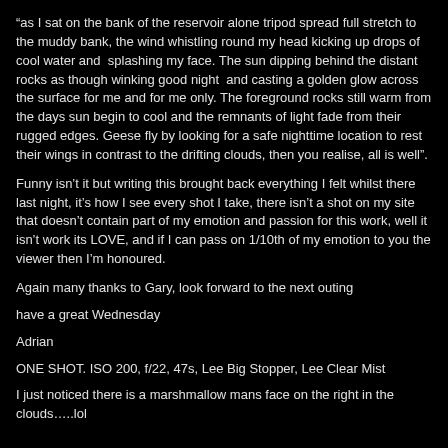“as I sat on the bank of the reservoir alone tripod spread full stretch to the muddy bank, the wind whistling round my head kicking up drops of cool water and  splashing my face. The sun dipping behind the distant rocks as though winking good night  and casting a golden glow across the surface for me and for me only. The foreground rocks still warm from the days sun begin to cool and the remnants of light fade from their rugged edges. Geese fly by looking for a safe nighttime location to rest their wings in contrast to the drifting clouds, then you realise, all is well”.
Funny isn’t it but writing this brought back everything I felt whilst there last night, it’s how I see every shot I take, there isn’t a shot on my site that doesn’t contain part of my emotion and passion for this work, well it isn’t work its LOVE, and if I can pass on 1/10th of my emotion to you the viewer then I’m honoured.
Again many thanks to Gary, look forward to the next outing
have a great Wednesday
Adrian
ONE SHOT. ISO 200, f/22, 47s, Lee Big Stopper, Lee Clear Mist
I just noticed there is a marshmallow mans face on the right in the clouds…..lol